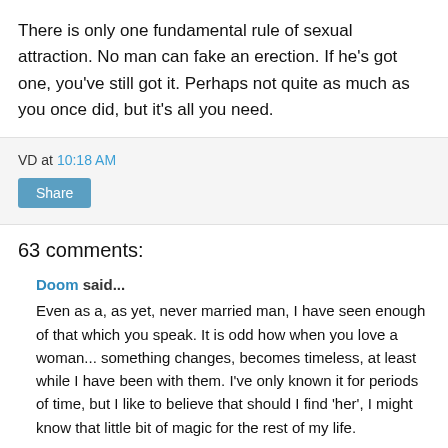There is only one fundamental rule of sexual attraction. No man can fake an erection. If he's got one, you've still got it. Perhaps not quite as much as you once did, but it's all you need.
VD at 10:18 AM
Share
63 comments:
Doom said...
Even as a, as yet, never married man, I have seen enough of that which you speak. It is odd how when you love a woman... something changes, becomes timeless, at least while I have been with them. I've only known it for periods of time, but I like to believe that should I find 'her', I might know that little bit of magic for the rest of my life.
June 16, 2012 at 10:57 AM